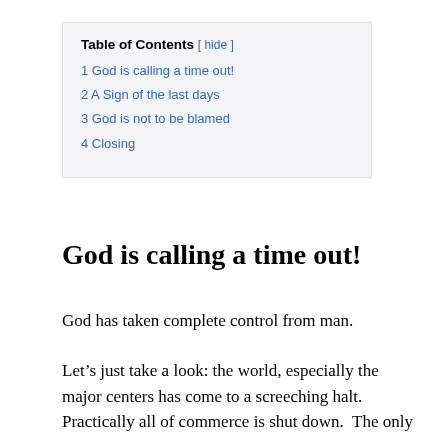| 1 God is calling a time out! |
| 2 A Sign of the last days |
| 3 God is not to be blamed |
| 4 Closing |
God is calling a time out!
God has taken complete control from man.
Let’s just take a look: the world, especially the major centers has come to a screeching halt. Practically all of commerce is shut down.  The only